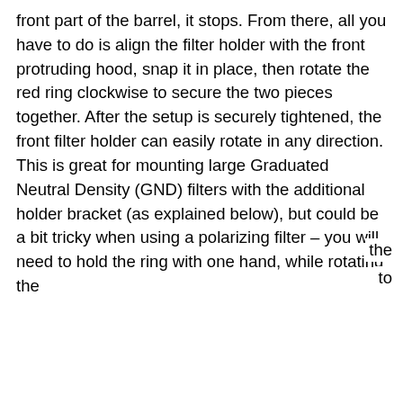front part of the barrel, it stops. From there, all you have to do is align the filter holder with the front protruding hood, snap it in place, then rotate the red ring clockwise to secure the two pieces together. After the setup is securely tightened, the front filter holder can easily rotate in any direction. This is great for mounting large Graduated Neutral Density (GND) filters with the additional holder bracket (as explained below), but could be a bit tricky when using a polarizing filter – you will need to hold the ring with one hand, while rotating the [video] to
[Figure (other): Embedded video player shown as a black rectangle with a white play button triangle in the center. A blue strip appears on the right side.]